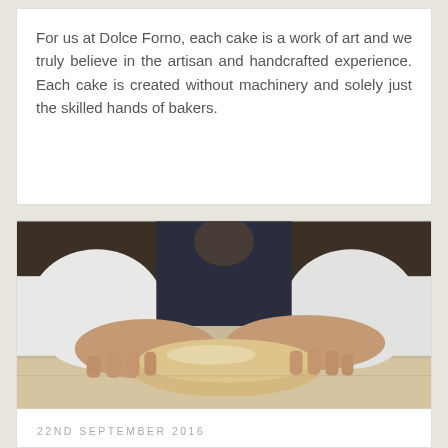For us at Dolce Forno, each cake is a work of art and we truly believe in the artisan and handcrafted experience. Each cake is created without machinery and solely just the skilled hands of bakers.
[Figure (photo): A baker in a white chef's coat and dark apron kneading dough on a wooden surface, viewed from the torso down showing both hands pressing into a loaf of dough.]
22ND SEPTEMBER 2016